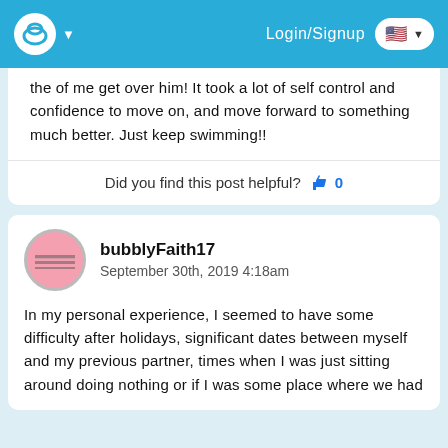Login/Signup
the of me get over him! It took a lot of self control and confidence to move on, and move forward to something much better. Just keep swimming!!
Did you find this post helpful? 👍 0
bubblyFaith17
September 30th, 2019 4:18am
In my personal experience, I seemed to have some difficulty after holidays, significant dates between myself and my previous partner, times when I was just sitting around doing nothing or if I was some place where we had